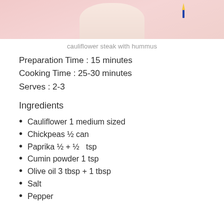[Figure (photo): Photo of cauliflower steak with hummus on a pink background]
cauliflower steak with hummus
Preparation Time : 15 minutes
Cooking Time : 25-30 minutes
Serves : 2-3
Ingredients
Cauliflower 1 medium sized
Chickpeas ½ can
Paprika ½  +  ½   tsp
Cumin powder 1 tsp
Olive oil 3 tbsp + 1 tbsp
Salt
Pepper